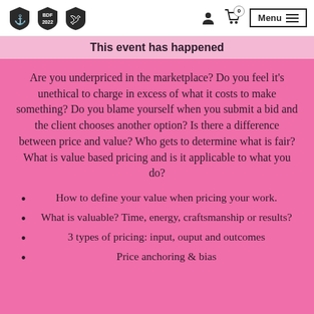BDF 2022 | Menu
This event has happened
Are you underpriced in the marketplace? Do you feel it's unethical to charge in excess of what it costs to make something? Do you blame yourself when you submit a bid and the client chooses another option? Is there a difference between price and value? Who gets to determine what is fair? What is value based pricing and is it applicable to what you do?
How to define your value when pricing your work.
What is valuable? Time, energy, craftsmanship or results?
3 types of pricing: input, ouput and outcomes
Price anchoring & bias